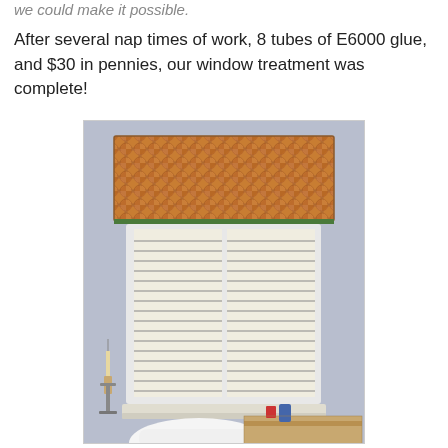we could make it possible.
After several nap times of work, 8 tubes of E6000 glue, and $30 in pennies, our window treatment was complete!
[Figure (photo): A bathroom window with white horizontal blinds topped by a decorative valance made entirely of pennies glued together. The copper penny valance spans the width of the window. Below the window is a toilet and a tiled vanity area. The wall is painted light blue/lavender.]